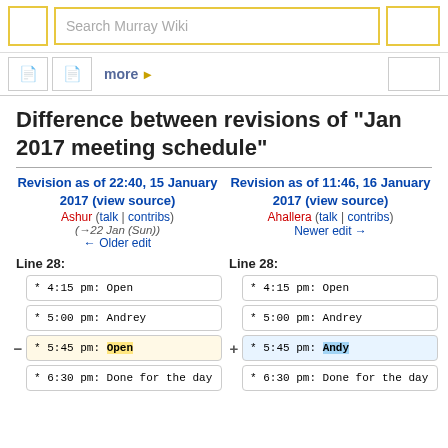Search Murray Wiki
Difference between revisions of "Jan 2017 meeting schedule"
Revision as of 22:40, 15 January 2017 (view source)
Ashur (talk | contribs)
(→22 Jan (Sun))
← Older edit
Revision as of 11:46, 16 January 2017 (view source)
Ahallera (talk | contribs)
Newer edit →
Line 28:
Line 28:
| * 4:15 pm: Open | * 4:15 pm: Open |
| * 5:00 pm: Andrey | * 5:00 pm: Andrey |
| * 5:45 pm: Open (removed) | * 5:45 pm: Andy (added) |
| * 6:30 pm: Done for the day | * 6:30 pm: Done for the day |